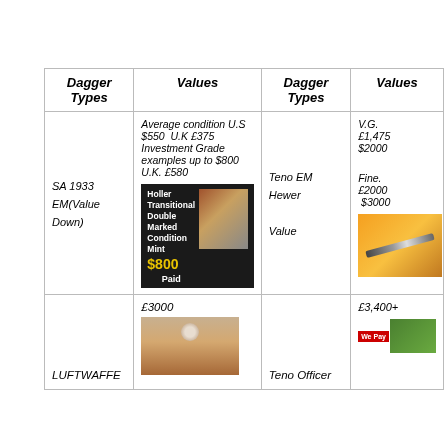| Dagger Types | Values | Dagger Types | Values |
| --- | --- | --- | --- |
| SA 1933 EM(Value Down) | Average condition U.S $550  U.K £375 Investment Grade examples up to $800 U.K. £580 [Holler Transitional Double Marked Condition Mint $800 Paid] | Teno EM Hewer Value | V.G. £1,475 $2000

Fine. £2000 $3000 [image] |
| LUFTWAFFE | £3000 [image] | Teno Officer | £3,400+ [We Pay image] |